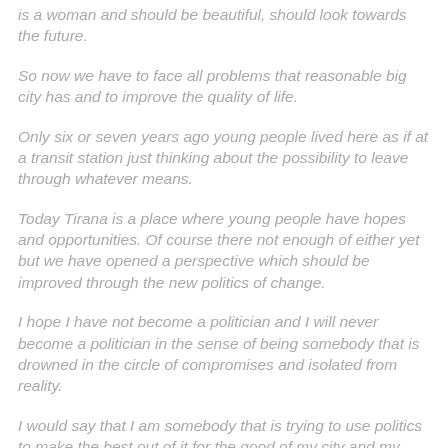is a woman and should be beautiful, should look towards the future.
So now we have to face all problems that reasonable big city has and to improve the quality of life.
Only six or seven years ago young people lived here as if at a transit station just thinking about the possibility to leave through whatever means.
Today Tirana is a place where young people have hopes and opportunities. Of course there not enough of either yet but we have opened a perspective which should be improved through the new politics of change.
I hope I have not become a politician and I will never become a politician in the sense of being somebody that is drowned in the circle of compromises and isolated from reality.
I would say that I am somebody that is trying to use politics to make the best out of it for the good of my city and my